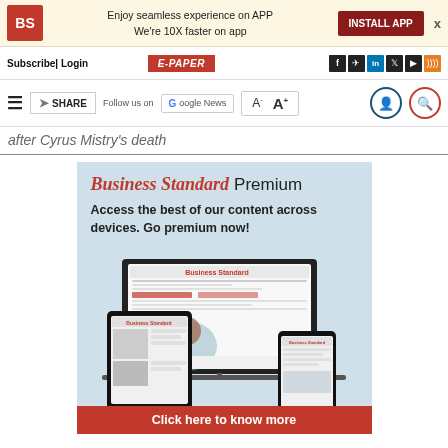Enjoy seamless experience on APP We're 10X faster on app | INSTALL APP
Subscribe | Login  E-PAPER
Follow us on Google News  A-  A+
after Cyrus Mistry's death
[Figure (screenshot): Business Standard Premium advertisement banner with devices (laptop, tablet, phone) showing the Business Standard website. Text: 'Access the best of our content across devices. Go premium now!' with 'Click here to know more' button.]
Markets